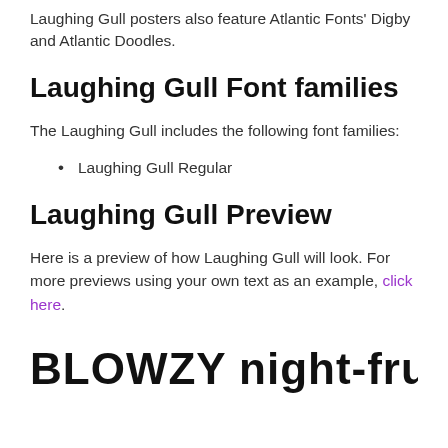Laughing Gull posters also feature Atlantic Fonts' Digby and Atlantic Doodles.
Laughing Gull Font families
The Laughing Gull includes the following font families:
Laughing Gull Regular
Laughing Gull Preview
Here is a preview of how Laughing Gull will look. For more previews using your own text as an example, click here.
[Figure (illustration): Preview of Laughing Gull decorative font showing text: BLOWZY night-frumps vex']